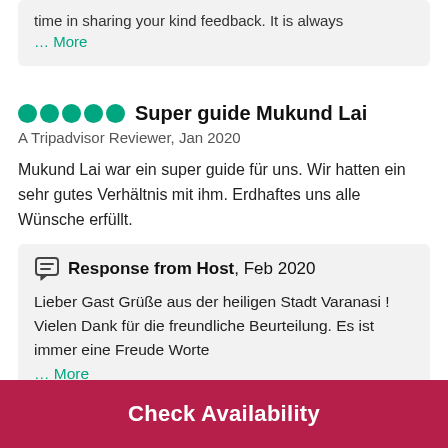time in sharing your kind feedback. It is always … More
Super guide Mukund Lai
A Tripadvisor Reviewer, Jan 2020
Mukund Lai war ein super guide für uns. Wir hatten ein sehr gutes Verhältnis mit ihm. Erdhaftes uns alle Wünsche erfüllt.
Response from Host, Feb 2020
Lieber Gast Grüße aus der heiligen Stadt Varanasi ! Vielen Dank für die freundliche Beurteilung. Es ist immer eine Freude Worte … More
Check Availability